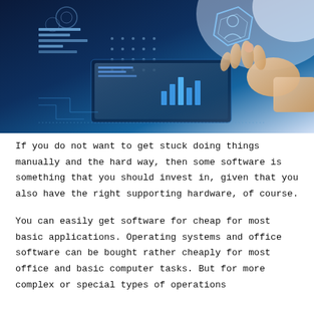[Figure (photo): A person's hand touching a futuristic digital interface screen with glowing holographic data visualizations, charts, and a hexagonal shape, rendered in blue tones.]
If you do not want to get stuck doing things manually and the hard way, then some software is something that you should invest in, given that you also have the right supporting hardware, of course.
You can easily get software for cheap for most basic applications. Operating systems and office software can be bought rather cheaply for most office and basic computer tasks. But for more complex or special types of operations